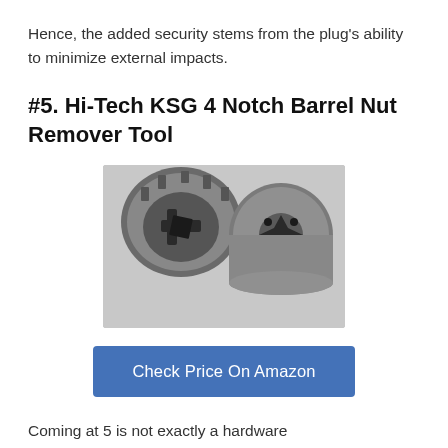Hence, the added security stems from the plug's ability to minimize external impacts.
#5. Hi-Tech KSG 4 Notch Barrel Nut Remover Tool
[Figure (photo): Black and white photo of two barrel nut remover tool components viewed from above — one cylindrical socket on the left showing internal notches, and one cylindrical cap on the right showing a 4-point star-shaped recess.]
Check Price On Amazon
Coming at 5 is not exactly a hardware